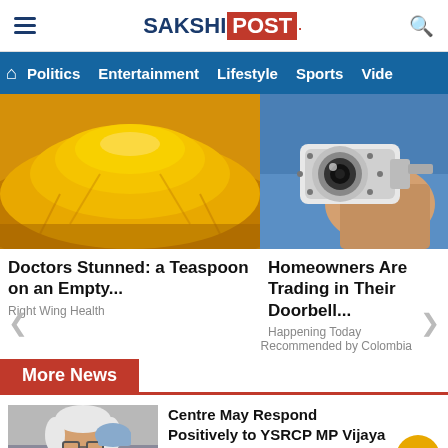SAKSHI POST
[Figure (screenshot): Navigation bar with Politics, Entertainment, Lifestyle, Sports, Video menu items on blue background]
[Figure (photo): Left: yellow turmeric powder pile. Right: person holding security camera]
Doctors Stunned: a Teaspoon on an Empty...
Right Wing Health
Homeowners Are Trading in Their Doorbell...
Happening Today
Recommended by Colombia
More News
[Figure (photo): Photo of an elderly man with white hair and beard wearing glasses and blue vest, speaking at a podium]
Centre May Respond Positively to YSRCP MP Vijaya Sai Reddy's CAB Bill
[Figure (screenshot): BitLife - Life Simulator advertisement with red background and sperm icon]
BitLife - Life Simulator
Install!
ra Prasad,